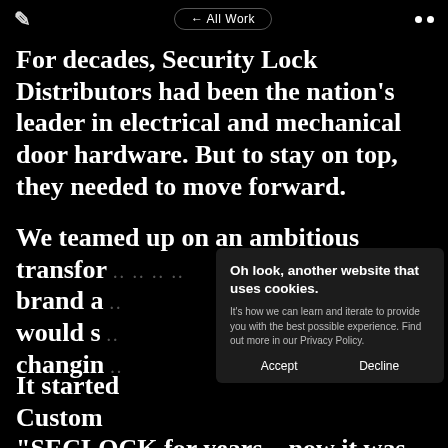← All Work
For decades, Security Lock Distributors had been the nation's leader in electrical and mechanical door hardware. But to stay on top, they needed to move forward.
We teamed up on an ambitious transformation... brand and... would set... changing...
[Figure (screenshot): Cookie consent popup overlay with title 'Oh look, another website that uses cookies.' and body text 'It’s how we can learn and iterate to provide you with the best possible experience. Find out more in our Privacy Policy.' with Accept and Decline buttons.]
It started... Customer... "SECLOCK for years—now it was time to make it official. A new name needed a new...